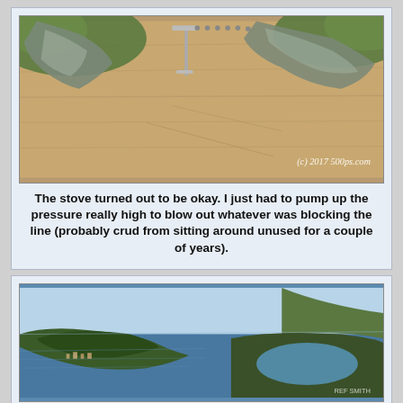[Figure (photo): Close-up photo of a camp stove or similar metal object on a wooden surface with green grass visible. Shows metal parts/fittings. Watermark reads (c) 2017 500ps.com]
The stove turned out to be okay. I just had to pump up the pressure really high to blow out whatever was blocking the line (probably crud from sitting around unused for a couple of years).
[Figure (photo): Panoramic aerial photo of Copper Harbor from Brockway Mountain overlook showing a lake, forested peninsula, and small town along the water.]
Panorama of Copper Harbor from Brockway Mountain overlook. My campsite is about halfway up the left-hand side of that lake on the right.